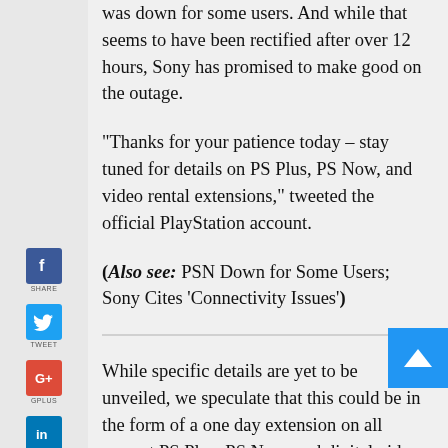was down for some users. And while that seems to have been rectified after over 12 hours, Sony has promised to make good on the outage.
“Thanks for your patience today – stay tuned for details on PS Plus, PS Now, and video rental extensions,” tweeted the official PlayStation account.
(Also see: PSN Down for Some Users; Sony Cites ‘Connectivity Issues’)
While specific details are yet to be unveiled, we speculate that this could be in the form of a one day extension on all current PS Plus, PS Now, and digital video rentals to make up for the downtime. What’s perplexing is that the company has not given a reason for the latest PSN outage. Something that we hope doesn’t become a trend. Valve also took its own sweet time to explain why Steam was down at the end of the year.
(Also see: Lizard Squad Member Found Guilty of Hacking Into